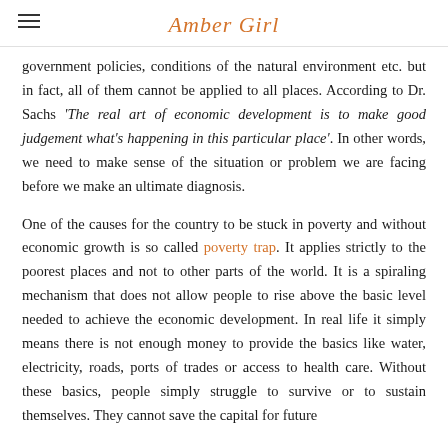Amber Girl
government policies, conditions of the natural environment etc. but in fact, all of them cannot be applied to all places. According to Dr. Sachs 'The real art of economic development is to make good judgement what's happening in this particular place'. In other words, we need to make sense of the situation or problem we are facing before we make an ultimate diagnosis.
One of the causes for the country to be stuck in poverty and without economic growth is so called poverty trap. It applies strictly to the poorest places and not to other parts of the world. It is a spiraling mechanism that does not allow people to rise above the basic level needed to achieve the economic development. In real life it simply means there is not enough money to provide the basics like water, electricity, roads, ports of trades or access to health care. Without these basics, people simply struggle to survive or to sustain themselves. They cannot save the capital for future